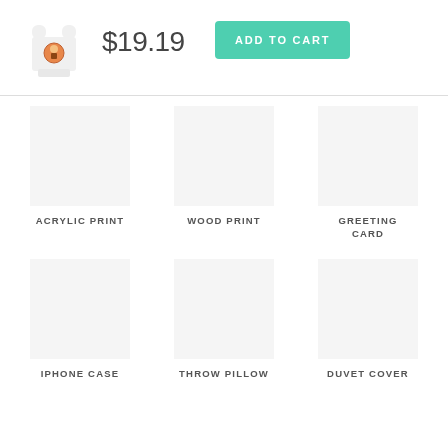[Figure (photo): White baby onesie with small circular graphic print]
$19.19
ADD TO CART
ACRYLIC PRINT
WOOD PRINT
GREETING CARD
IPHONE CASE
THROW PILLOW
DUVET COVER